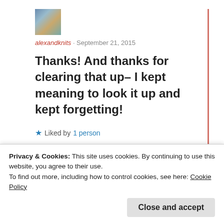[Figure (photo): Small square avatar image showing a colorful knitting or craft photo]
alexandknits · September 21, 2015
Thanks! And thanks for clearing that up– I kept meaning to look it up and kept forgetting!
★ Liked by 1 person
Reply
Privacy & Cookies: This site uses cookies. By continuing to use this website, you agree to their use.
To find out more, including how to control cookies, see here: Cookie Policy
Close and accept